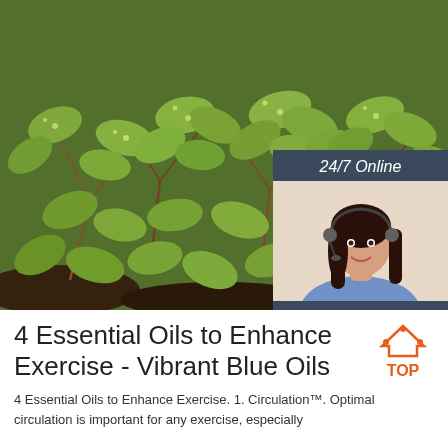[Figure (photo): Close-up photo of green succulent herb plants (purslane/herbs) with small leaves, covering the upper portion of the page. Overlaid with a customer service chat widget in the right portion showing '24/7 Online', a woman with a headset, 'Click here for free chat!', and an orange 'QUOTATION' button.]
4 Essential Oils to Enhance Exercise - Vibrant Blue Oils
4 Essential Oils to Enhance Exercise. 1. Circulation™. Optimal circulation is important for any exercise, especially